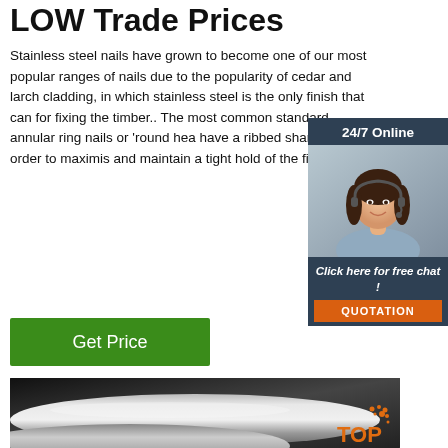LOW Trade Prices
Stainless steel nails have grown to become one of our most popular ranges of nails due to the popularity of cedar and larch cladding, in which stainless steel is the only finish that can for fixing the timber.. The most common standard annular ring nails or 'round hea have a ribbed shank in order to maximis and maintain a tight hold of the fixing.
[Figure (other): 24/7 online chat widget with customer service representative photo, 'Click here for free chat!' text, and orange QUOTATION button]
[Figure (photo): Close-up photo of shiny stainless steel cylindrical rods/nails on dark background with orange TOP logo watermark]